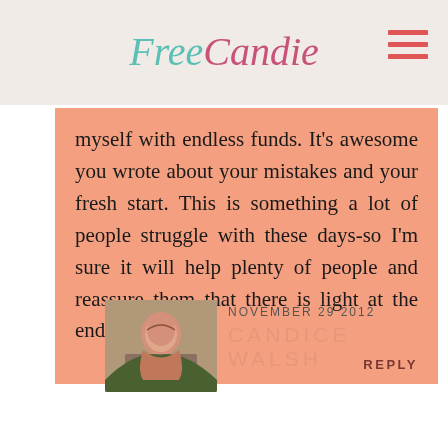FreeCandie
myself with endless funds. It’s awesome you wrote about your mistakes and your fresh start. This is something a lot of people struggle with these days-so I’m sure it will help plenty of people and reassure them that there is light at the end of the table!
REPLY
NOVEMBER 29 2012
CANDICE WALSH